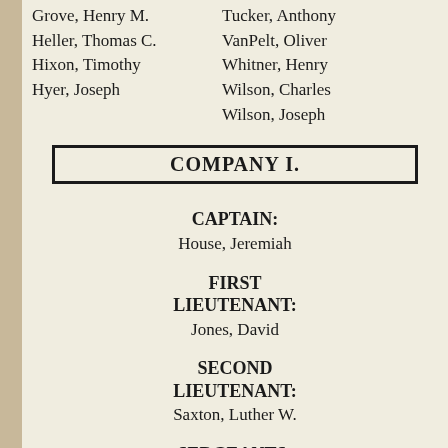Grove, Henry M.
Heller, Thomas C.
Hixon, Timothy
Hyer, Joseph
Tucker, Anthony
VanPelt, Oliver
Whitner, Henry
Wilson, Charles
Wilson, Joseph
COMPANY I.
CAPTAIN:
House, Jeremiah
FIRST LIEUTENANT:
Jones, David
SECOND LIEUTENANT:
Saxton, Luther W.
SERGEANTS:
Dolan, Joseph
Mercer, John R.